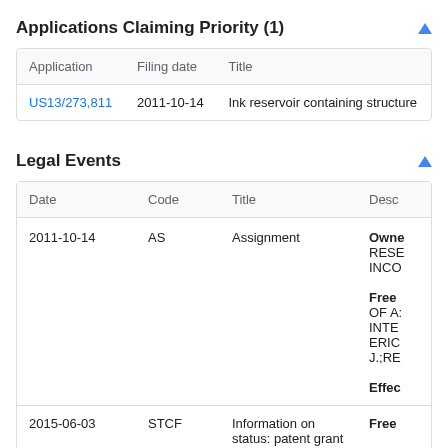Applications Claiming Priority (1)
| Application | Filing date | Title |
| --- | --- | --- |
| US13/273,811 | 2011-10-14 | Ink reservoir containing structure |
Legal Events
| Date | Code | Title | Desc |
| --- | --- | --- | --- |
| 2011-10-14 | AS | Assignment | Owner
RESE
INCO

Free
OF A:
INTE
ERIC
J.;RE

Effec |
| 2015-06-03 | STCF | Information on status: patent grant | Free |